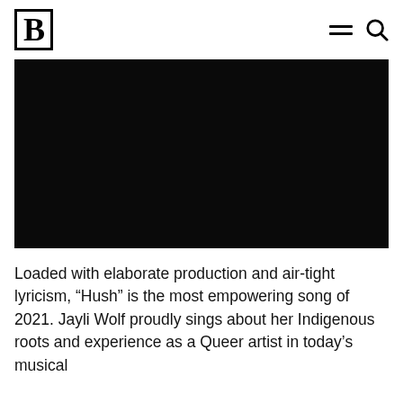B
[Figure (photo): A large dark/black hero image, almost entirely black, occupying the width of the page below the header navigation.]
Loaded with elaborate production and air-tight lyricism, “Hush” is the most empowering song of 2021. Jayli Wolf proudly sings about her Indigenous roots and experience as a Queer artist in today’s musical